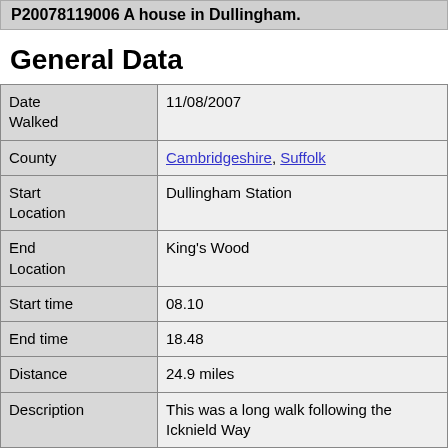P20078119006 A house in Dullingham.
General Data
| Field | Value |
| --- | --- |
| Date Walked | 11/08/2007 |
| County | Cambridgeshire, Suffolk |
| Start Location | Dullingham Station |
| End Location | King's Wood |
| Start time | 08.10 |
| End time | 18.48 |
| Distance | 24.9 miles |
| Description | This was a long walk following the Icknield Way |
| Pack | Today I carried my MacPac rucksack, containing equipment. |
| Condition | I am very fatigued after this walk, which is to be worst thing is the underside of my feet, which su |
| Weather |  |